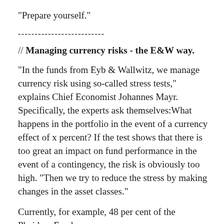"Prepare yourself."
--------------------------
// Managing currency risks - the E&W way.
"In the funds from Eyb & Wallwitz, we manage currency risk using so-called stress tests," explains Chief Economist Johannes Mayr. Specifically, the experts ask themselves:What happens in the portfolio in the event of a currency effect of x percent? If the test shows that there is too great an impact on fund performance in the event of a contingency, the risk is obviously too high. "Then we try to reduce the stress by making changes in the asset classes."
Currently, for example, 48 per cent of the Phaidros Funds